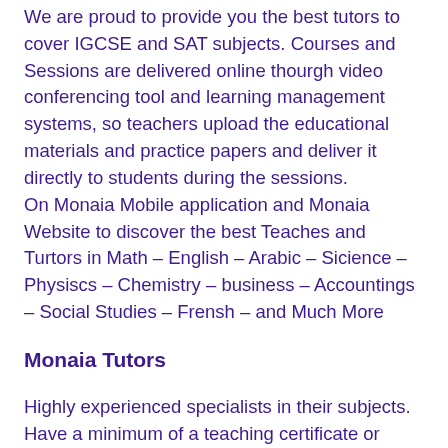We are proud to provide you the best tutors to cover IGCSE and SAT subjects. Courses and Sessions are delivered online thourgh video conferencing tool and learning management systems, so teachers upload the educational materials and practice papers and deliver it directly to students during the sessions. On Monaia Mobile application and Monaia Website to discover the best Teaches and Turtors in Math – English – Arabic – Sicience – Physiscs – Chemistry – business – Accountings – Social Studies – Frensh – and Much More
Monaia Tutors
Highly experienced specialists in their subjects. Have a minimum of a teaching certificate or degree in their subject. Most currently teach in International schools and colleges or are very experienced private tutors.